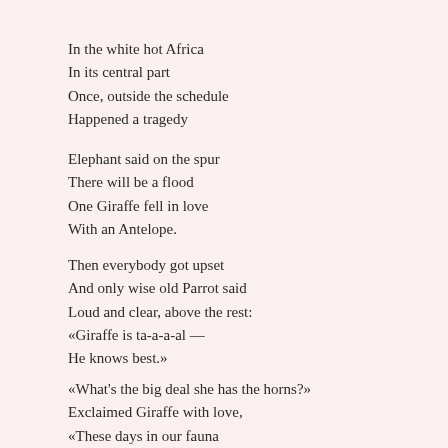In the white hot Africa
In its central part
Once, outside the schedule
Happened a tragedy
Elephant said on the spur
There will be a flood
One Giraffe fell in love
With an Antelope.
Then everybody got upset
And only wise old Parrot said
Loud and clear, above the rest:
«Giraffe is ta-a-a-al —
He knows best.»
«What's the big deal she has the horns?»
Exclaimed Giraffe with love,
«These days in our fauna
We are equal — everyone.»